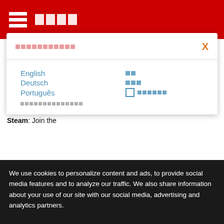Menu navigation header with hamburger icon
Language selection modal
English
Deutsch
Português
Facebook: http://bit.ly/FGSomB
Twitter: http://www.twitter.com/FuturemarkGames
Steam: Join the
We use cookies to personalize content and ads, to provide social media features and to analyze our traffic. We also share information about your use of our site with our social media, advertising and analytics partners.